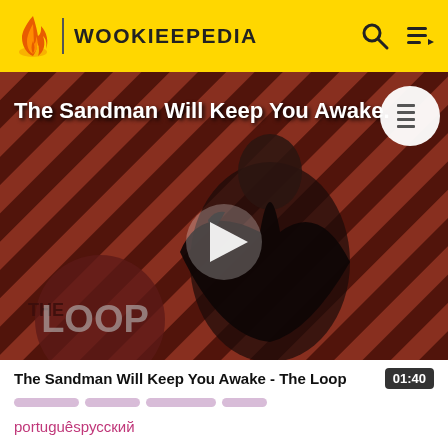WOOKIEEPEDIA
[Figure (screenshot): Video thumbnail showing a dark-cloaked figure against red and black diagonal striped background, with 'THE LOOP' text overlay and a play button in the center. Title overlay reads 'The Sandman Will Keep You Awake.']
The Sandman Will Keep You Awake - The Loop
01:40
portuguêsрусский